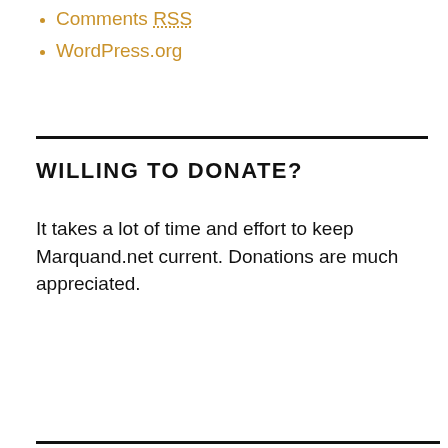Comments RSS
WordPress.org
WILLING TO DONATE?
It takes a lot of time and effort to keep Marquand.net current. Donations are much appreciated.
[Figure (other): PayPal Donate button with payment card icons (Visa, Mastercard, Maestro, American Express, Discover, UnionPay)]